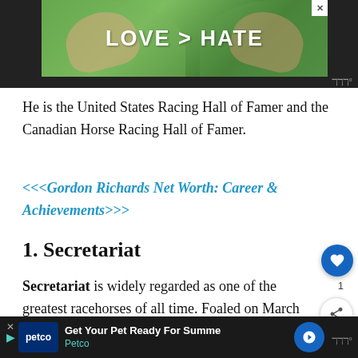[Figure (other): Advertisement banner with green background showing hands making a heart shape, text 'LOVE > HATE' in white bold letters, and a close button (X) in the top right corner.]
He is the United States Racing Hall of Famer and the Canadian Horse Racing Hall of Famer.
<<<Gordon Richards Net Worth: Career & Achievements>>>
1. Secretariat
Secretariat is widely regarded as one of the greatest racehorses of all time. Foaled on March 1970, the stallion holds the fastest time record in
[Figure (other): Bottom advertisement bar for Petco: 'Get Your Pet Ready For Summe' with Petco logo and navigation arrow button. Dark background.]